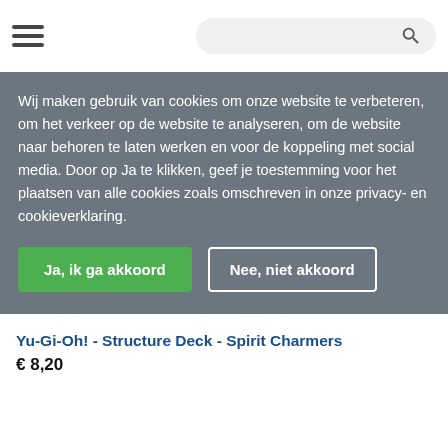Navigation header with hamburger menu and search bar
Wij maken gebruik van cookies om onze website te verbeteren, om het verkeer op de website te analyseren, om de website naar behoren te laten werken en voor de koppeling met social media. Door op Ja te klikken, geef je toestemming voor het plaatsen van alle cookies zoals omschreven in onze privacy- en cookieverklaring.
Ja, ik ga akkoord
Nee, niet akkoord
Yu-Gi-Oh! - Structure Deck - Spirit Charmers
€ 8,20